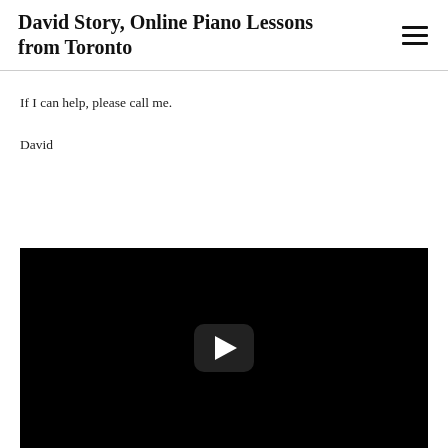David Story, Online Piano Lessons from Toronto
If I can help, please call me.
David
[Figure (screenshot): Embedded YouTube video player with black background and a rounded-rectangle play button with a white triangle in the center.]